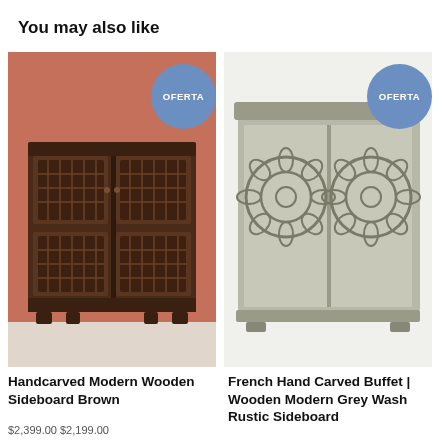You may also like
[Figure (photo): Handcarved dark brown wooden sideboard against a terracotta/salmon background with OFERTA badge]
Handcarved Modern Wooden Sideboard Brown
$2,399.00 $2,199.00
[Figure (photo): French hand carved buffet with ornate lattice doors in grey wash finish against white background with OFERTA badge]
French Hand Carved Buffet | Wooden Modern Grey Wash Rustic Sideboard